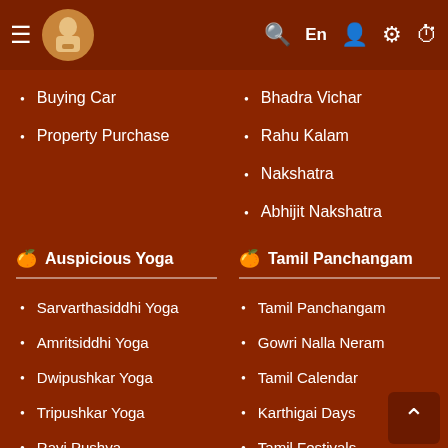Navigation bar with hamburger menu, logo, search, En, user, settings, clock icons
Buying Car
Property Purchase
Bhadra Vichar
Rahu Kalam
Nakshatra
Abhijit Nakshatra
Auspicious Yoga
Tamil Panchangam
Sarvarthasiddhi Yoga
Tamil Panchangam
Amritsiddhi Yoga
Gowri Nalla Neram
Dwipushkar Yoga
Tamil Calendar
Tripushkar Yoga
Karthigai Days
Ravi Pushya
Tamil Festivals
Guru Pushya
Kanda Sashti Days